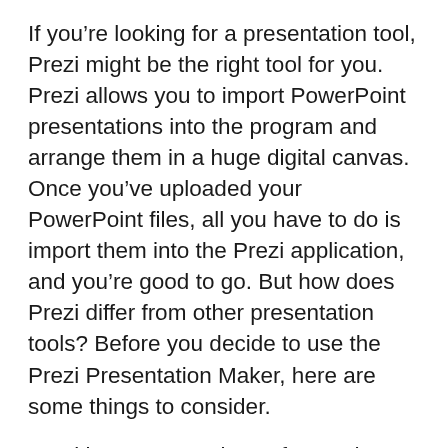If you're looking for a presentation tool, Prezi might be the right tool for you. Prezi allows you to import PowerPoint presentations into the program and arrange them in a huge digital canvas. Once you've uploaded your PowerPoint files, all you have to do is import them into the Prezi application, and you're good to go. But how does Prezi differ from other presentation tools? Before you decide to use the Prezi Presentation Maker, here are some things to consider.
Prezi is a presentation software that allows you to create presentations in any way you like. If you'd rather use a freeform approach, you can write down your basic ideas on the canvas and then organize them however you'd like. To 'frame' your ideas, you can